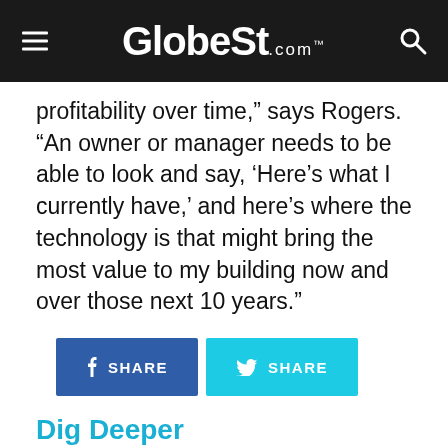GlobeSt.com
profitability over time,” says Rogers. “An owner or manager needs to be able to look and say, ‘Here’s what I currently have,’ and here’s where the technology is that might bring the most value to my building now and over those next 10 years.”
Dig Deeper